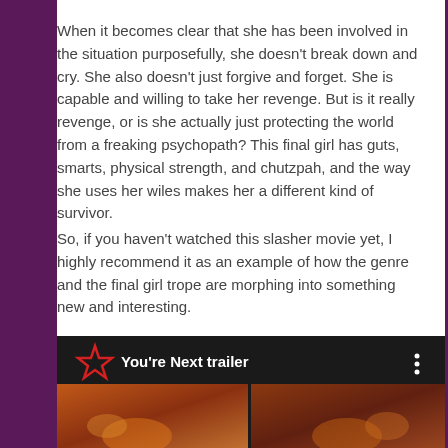When it becomes clear that she has been involved in the situation purposefully, she doesn't break down and cry. She also doesn't just forgive and forget. She is capable and willing to take her revenge. But is it really revenge, or is she actually just protecting the world from a freaking psychopath? This final girl has guts, smarts, physical strength, and chutzpah, and the way she uses her wiles makes her a different kind of survivor.
So, if you haven't watched this slasher movie yet, I highly recommend it as an example of how the genre and the final girl trope are morphing into something new and interesting.
[Figure (screenshot): YouTube-style video thumbnail with a red star icon on the left, title 'You're Next trailer' in white text on black background, three-dot menu icon on right, and a dark orange/fire-toned video preview below.]